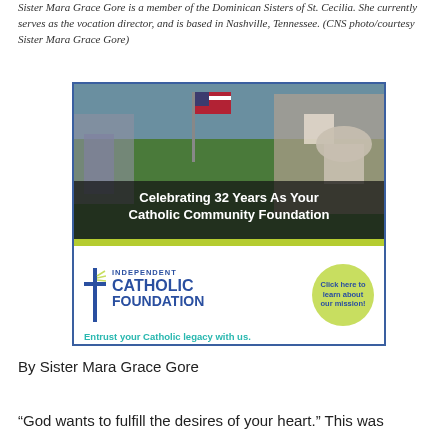Sister Mara Grace Gore is a member of the Dominican Sisters of St. Cecilia. She currently serves as the vocation director, and is based in Nashville, Tennessee. (CNS photo/courtesy Sister Mara Grace Gore)
[Figure (illustration): Advertisement for Independent Catholic Foundation. Top portion shows aerial photo of a city with American flag and dome building with text overlay 'Celebrating 32 Years As Your Catholic Community Foundation'. Bottom portion shows logo with blue cross and text INDEPENDENT CATHOLIC FOUNDATION, tagline 'Entrust your Catholic legacy with us.' and a circular button 'Click here to learn about our mission!']
By Sister Mara Grace Gore
“God wants to fulfill the desires of your heart.” This was